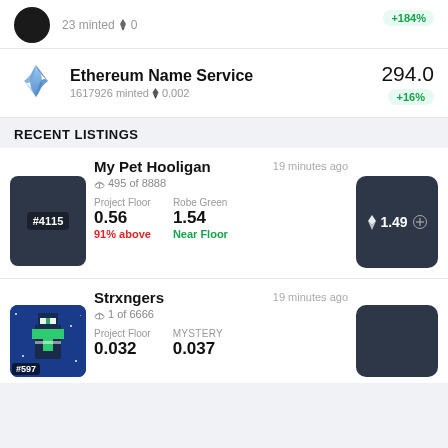[Figure (screenshot): Partial top row showing 23 minted, 0 ETH, +184% badge (cropped)]
Ethereum Name Service 1617926 minted 0.002 — 294.0 +16%
RECENT LISTINGS
My Pet Hooligan #4115 — 495 of 8888 — Project Floor 0.56 (91% above) — Robe Green 1.54 (Near Floor) — 19 minutes ago — Price 1.49
Strxngers #597 — 1 of 6666 — Project Floor 0.032 — MYSTERY 0.037 — 19 minutes ago